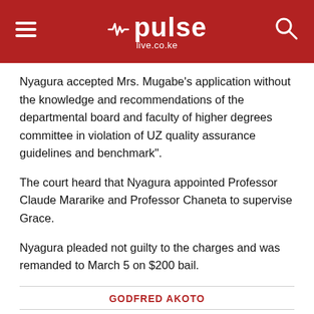pulse live.co.ke
Nyagura accepted Mrs. Mugabe's application without the knowledge and recommendations of the departmental board and faculty of higher degrees committee in violation of UZ quality assurance guidelines and benchmark".
The court heard that Nyagura appointed Professor Claude Mararike and Professor Chaneta to supervise Grace.
Nyagura pleaded not guilty to the charges and was remanded to March 5 on $200 bail.
GODFRED AKOTO
[Figure (infographic): Social media share buttons: Facebook (blue), Twitter (light blue), Email (black), WhatsApp (green), LinkedIn (blue)]